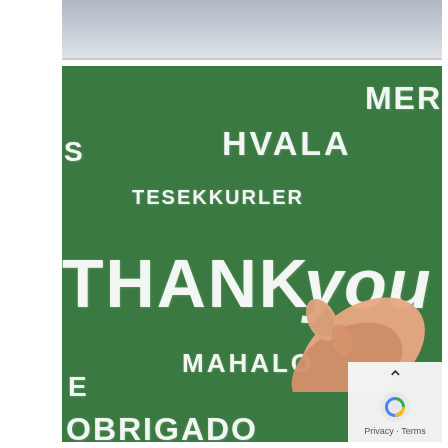[Figure (photo): Top portion of an image partially cropped — grey/silver surface visible at the top of the page]
[Figure (photo): A green chalkboard with 'Thank you' written in multiple languages in chalk-style white lettering: MER, S, HVALA, TESEKKURLER, THANK you, MAHALO, E, OBRIGADO. A hand is visible at the right side appearing to write on the board.]
Privacy · Terms